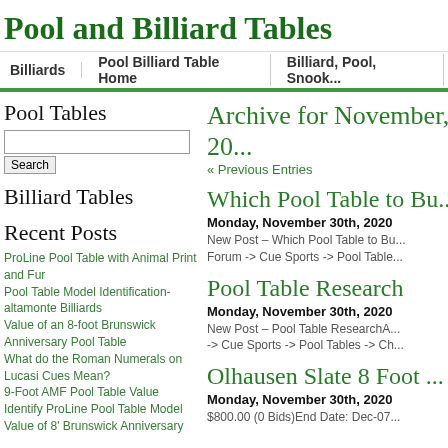Pool and Billiard Tables
Billiards | Pool Billiard Table Home | Billiard, Pool, Snook...
Pool Tables
Billiard Tables
Recent Posts
ProLine Pool Table with Animal Print and Fur
Pool Table Model Identification-altamonte Billiards
Value of an 8-foot Brunswick Anniversary Pool Table
What do the Roman Numerals on Lucasi Cues Mean?
9-Foot AMF Pool Table Value
Identify ProLine Pool Table Model
Value of 8' Brunswick Anniversary
Archive for November, 20...
« Previous Entries
Which Pool Table to Bu...
Monday, November 30th, 2020
New Post – Which Pool Table to Bu... Forum -> Cue Sports -> Pool Table...
Pool Table Research
Monday, November 30th, 2020
New Post – Pool Table ResearchA... -> Cue Sports -> Pool Tables -> Ch...
Olhausen Slate 8 Foot ...
Monday, November 30th, 2020
$800.00 (0 Bids)End Date: Dec-07...